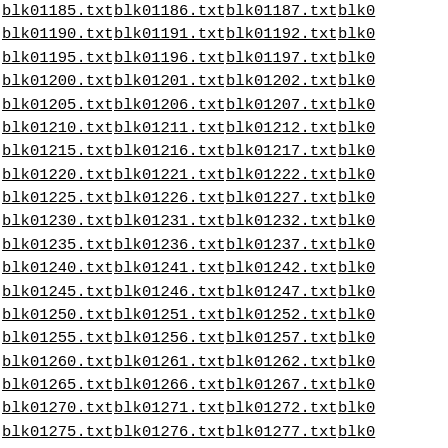blk01185.txt blk01186.txt blk01187.txt blk0 blk01190.txt blk01191.txt blk01192.txt blk0 blk01195.txt blk01196.txt blk01197.txt blk0 blk01200.txt blk01201.txt blk01202.txt blk0 blk01205.txt blk01206.txt blk01207.txt blk0 blk01210.txt blk01211.txt blk01212.txt blk0 blk01215.txt blk01216.txt blk01217.txt blk0 blk01220.txt blk01221.txt blk01222.txt blk0 blk01225.txt blk01226.txt blk01227.txt blk0 blk01230.txt blk01231.txt blk01232.txt blk0 blk01235.txt blk01236.txt blk01237.txt blk0 blk01240.txt blk01241.txt blk01242.txt blk0 blk01245.txt blk01246.txt blk01247.txt blk0 blk01250.txt blk01251.txt blk01252.txt blk0 blk01255.txt blk01256.txt blk01257.txt blk0 blk01260.txt blk01261.txt blk01262.txt blk0 blk01265.txt blk01266.txt blk01267.txt blk0 blk01270.txt blk01271.txt blk01272.txt blk0 blk01275.txt blk01276.txt blk01277.txt blk0 blk01280.txt blk01281.txt blk01282.txt blk0 blk01285.txt blk01286.txt blk01287.txt blk0 blk01290.txt blk01291.txt blk01292.txt blk0 blk01295.txt blk01296.txt blk01297.txt blk0 blk01300.txt blk01301.txt blk01302.txt blk0 blk01305.txt blk01306.txt blk01307.txt blk0